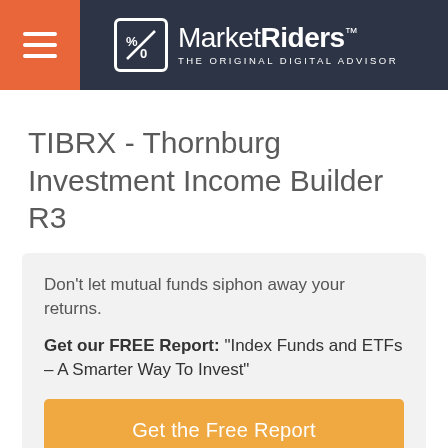MarketRiders — THE ORIGINAL DIGITAL ADVISOR
TIBRX - Thornburg Investment Income Builder R3
Don't let mutual funds siphon away your returns.
Get our FREE Report: "Index Funds and ETFs – A Smarter Way To Invest"
Get the Free Report